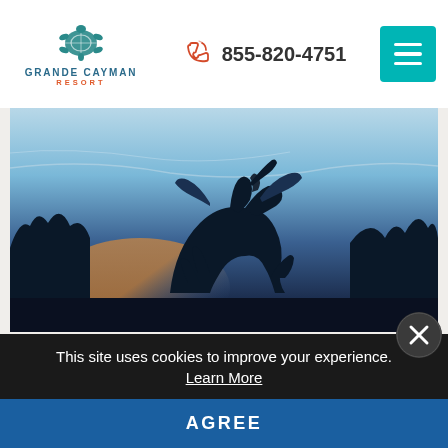[Figure (logo): Grande Cayman Resort logo with turtle icon and teal/orange text]
855-820-4751
[Figure (photo): Blue-toned photograph of a large equestrian sculpture silhouetted against a twilight sky at Brookgreen Gardens]
#40 – BROOKGREEN GARDENS
Beautiful sculptures and wildlife preserves await you at Brookgreen Gardens.
This site uses cookies to improve your experience. Learn More
AGREE